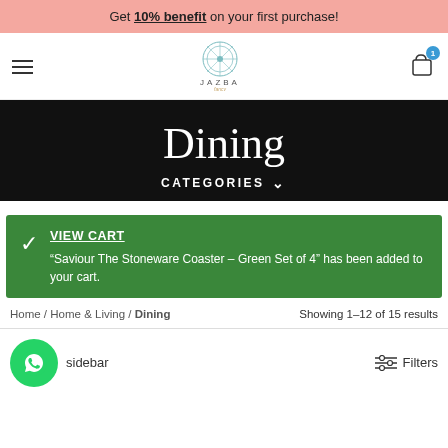Get 10% benefit on your first purchase!
[Figure (logo): Jazba logo with circular geometric design and text JAZBA]
Dining
CATEGORIES
VIEW CART — "Saviour The Stoneware Coaster – Green Set of 4" has been added to your cart.
Home / Home & Living / Dining — Showing 1–12 of 15 results
sidebar — Filters